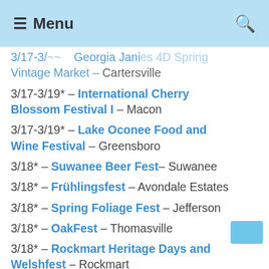≡ Menu
3/17-3/19 – Georgia Janies 4D Spring Vintage Market – Cartersville
3/17-3/19* – International Cherry Blossom Festival I – Macon
3/17-3/19* – Lake Oconee Food and Wine Festival – Greensboro
3/18* – Suwanee Beer Fest – Suwanee
3/18* – Frühlingsfest – Avondale Estates
3/18* – Spring Foliage Fest – Jefferson
3/18* – OakFest – Thomasville
3/18* – Rockmart Heritage Days and Welshfest – Rockmart
3/18* – Dublin-Laurens St. Patrick's Arts and Crafts Festival – Dublin